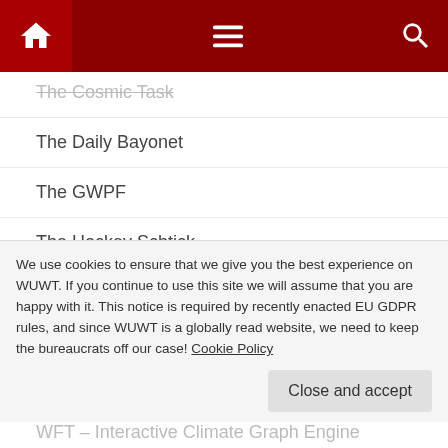Navigation bar with home, menu, and search icons
The Cosmic Task
The Daily Bayonet
The GWPF
The Hockey Schtick
The Lukewarmer's Way – Tom Fuller
The Next Grand Minimum
The Reference Frame
Thomas Fuller – 3000quads
We use cookies to ensure that we give you the best experience on WUWT. If you continue to use this site we will assume that you are happy with it. This notice is required by recently enacted EU GDPR rules, and since WUWT is a globally read website, we need to keep the bureaucrats off our case! Cookie Policy
WFT – Interactive Climate Graph Engine